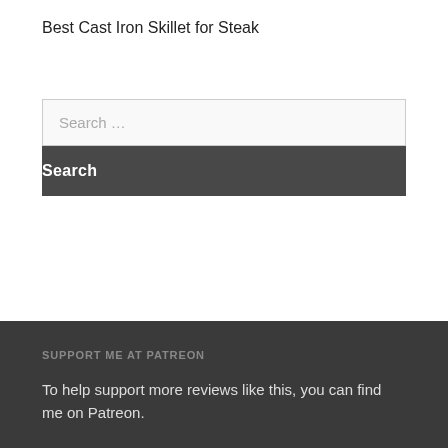Best Cast Iron Skillet for Steak
Search …
SUPPORT ME AT PATREON
To help support more reviews like this, you can find me on Patreon.